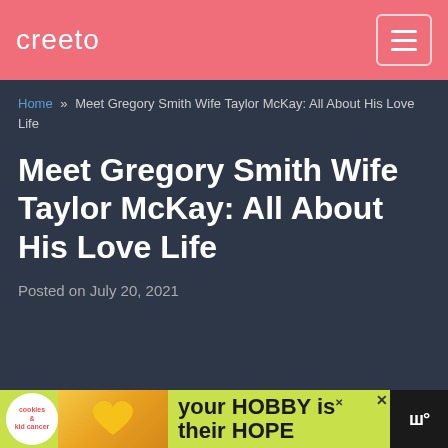creeto
Home » Meet Gregory Smith Wife Taylor McKay: All About His Love Life
Meet Gregory Smith Wife Taylor McKay: All About His Love Life
Posted on July 20, 2021
[Figure (other): Advertisement banner: cookies and kids cancer charity with 'your HOBBY is their HOPE' text on yellow-green background]